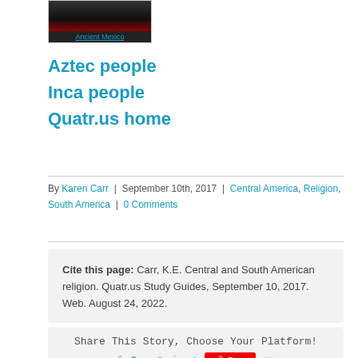[Figure (photo): Partial image of an ancient Mexico artifact or book cover at top, with a link label 'Ancient Mexico' below it]
Aztec people
Inca people
Quatr.us home
By Karen Carr | September 10th, 2017 | Central America, Religion, South America | 0 Comments
Cite this page: Carr, K.E. Central and South American religion. Quatr.us Study Guides, September 10, 2017. Web. August 24, 2022.
Share This Story, Choose Your Platform!